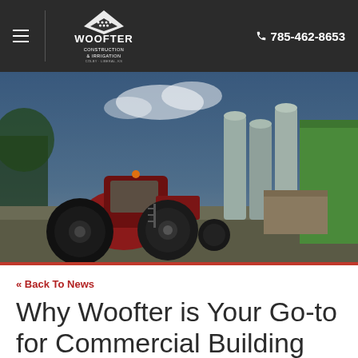Woofter Construction & Irrigation | ☎ 785-462-8653
[Figure (photo): Aerial/ground-level photo of a red tractor parked in front of large grain silos and a green industrial building on a farm lot, with blue sky and clouds in background.]
« Back To News
Why Woofter is Your Go-to for Commercial Building Construction